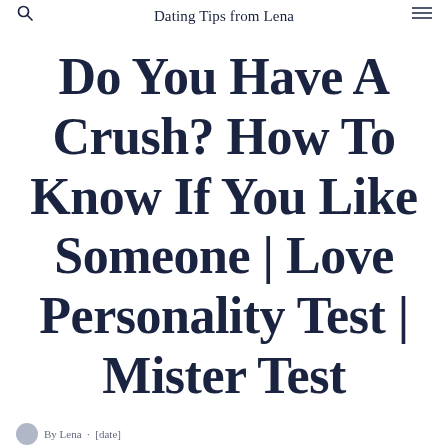Dating Tips from Lena
Do You Have A Crush? How To Know If You Like Someone | Love Personality Test | Mister Test
By [author] · [date]